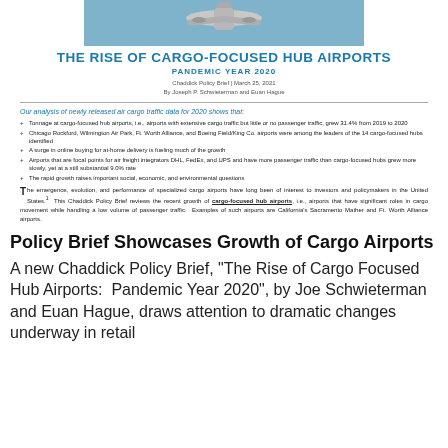[Figure (photo): Airplane viewed from below against blue sky, cropped banner image at top of page]
THE RISE OF CARGO-FOCUSED HUB AIRPORTS
PANDEMIC YEAR 2020
Chaddick Policy Brief | March 25, 2021
By Joseph P. Schwieterman and Euan Hague
Our analysis of newly released air cargo traffic data for 2020 shows that:
Tonnage at cargo-focused hub airports, i.e., airports with extensive cargo traffic but little or no passenger traffic, grew 31.4% from 2019 to 2020
Chicago Rockford, Wilmington Air Park, Ft. Worth Alliance, and Boeing Field/King Co. airports were among the leaders of the 14 cargo-focused hubs identified
A surge in online buying for at-home delivery is fueling much of the growth
Airports that are focal points for air freight integrators DHL, FedEx, and UPS and have more passenger traffic than cargo-focused hubs grew more slowly, yet at a still substantial 9.0% rate
The rapid growth raises important social, economic, and environmental questions
The emergence, evolution, and performance of specialized cargo airports have long been of interest to investors and policymakers in the United States.¹ This Chaddick Policy Brief reviews the recent growth of cargo-focused hub airports, i.e., airports that have significant roles in cargo movement while handling a low volume of passenger traffic. Examples of such airports are California's Sacramento Mather and Ft. Worth Alliance airports.
Policy Brief Showcases Growth of Cargo Airports
A new Chaddick Policy Brief, "The Rise of Cargo Focused Hub Airports:  Pandemic Year 2020", by Joe Schwieterman and Euan Hague, draws attention to dramatic changes underway in retail